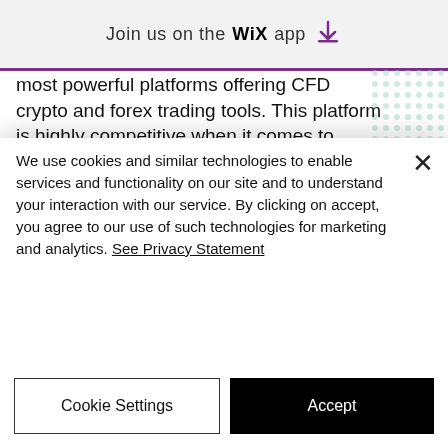Join us on the WiX app ↓
most powerful platforms offering CFD crypto and forex trading tools. This platform is highly competitive when it comes to trading traditional markets using Bitcoin, bitstarz casino withdrawal. Bei jeglicher Form des Verlustes gibt es nur eine geringe Chance Bitcoins zuruckzubekommen. Dadurch wird die Auswahl einer seriosen Krypto-Wallet und eines sicheren Casinos umso bedeutender, bitstarz casino бездепозитный бонус. Countries are working on putting new
We use cookies and similar technologies to enable services and functionality on our site and to understand your interaction with our service. By clicking on accept, you agree to our use of such technologies for marketing and analytics. See Privacy Statement
Cookie Settings
Accept